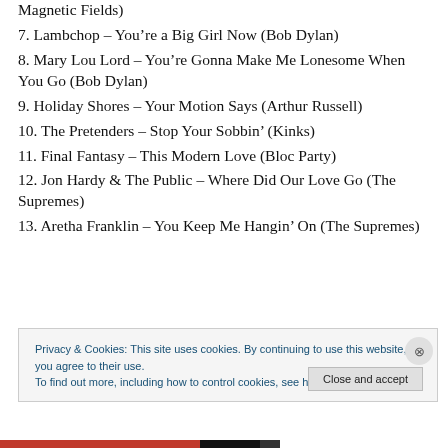Magnetic Fields)
7. Lambchop – You're a Big Girl Now (Bob Dylan)
8. Mary Lou Lord – You're Gonna Make Me Lonesome When You Go (Bob Dylan)
9. Holiday Shores – Your Motion Says (Arthur Russell)
10. The Pretenders – Stop Your Sobbin' (Kinks)
11. Final Fantasy – This Modern Love (Bloc Party)
12. Jon Hardy & The Public – Where Did Our Love Go (The Supremes)
13. Aretha Franklin – You Keep Me Hangin' On (The Supremes)
Privacy & Cookies: This site uses cookies. By continuing to use this website, you agree to their use. To find out more, including how to control cookies, see here: Cookie Policy